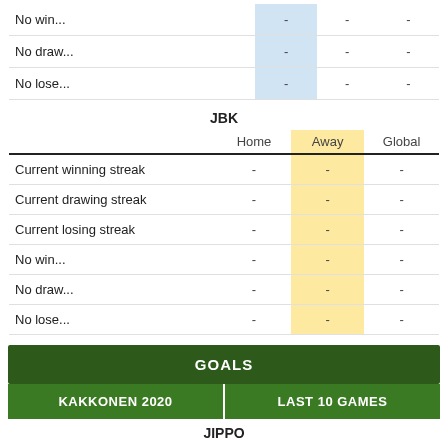|  | Home | Away | Global |
| --- | --- | --- | --- |
| No win... | - | - | - |
| No draw... | - | - | - |
| No lose... | - | - | - |
JBK
|  | Home | Away | Global |
| --- | --- | --- | --- |
| Current winning streak | - | - | - |
| Current drawing streak | - | - | - |
| Current losing streak | - | - | - |
| No win... | - | - | - |
| No draw... | - | - | - |
| No lose... | - | - | - |
GOALS
KAKKONEN 2020
LAST 10 GAMES
JIPPO